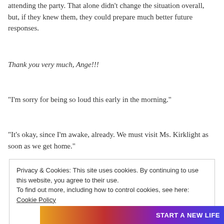attending the party. That alone didn't change the situation overall, but, if they knew them, they could prepare much better future responses.
Thank you very much, Ange!!!
“I’m sorry for being so loud this early in the morning.”
“It’s okay, since I’m awake, already. We must visit Ms. Kirklight as soon as we get home.”
Privacy & Cookies: This site uses cookies. By continuing to use this website, you agree to their use.
To find out more, including how to control cookies, see here: Cookie Policy
Close and accept
[Figure (other): Colorful advertisement banner with text START A NEW LIFE]